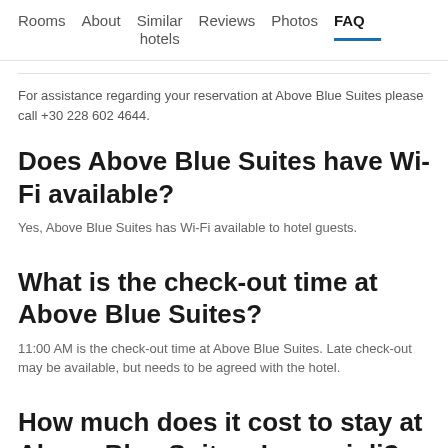Rooms | About | Similar hotels | Reviews | Photos | FAQ
For assistance regarding your reservation at Above Blue Suites please call +30 228 602 4644.
Does Above Blue Suites have Wi-Fi available?
Yes, Above Blue Suites has Wi-Fi available to hotel guests.
What is the check-out time at Above Blue Suites?
11:00 AM is the check-out time at Above Blue Suites. Late check-out may be available, but needs to be agreed with the hotel.
How much does it cost to stay at Above Blue Suites, Imerovigli?